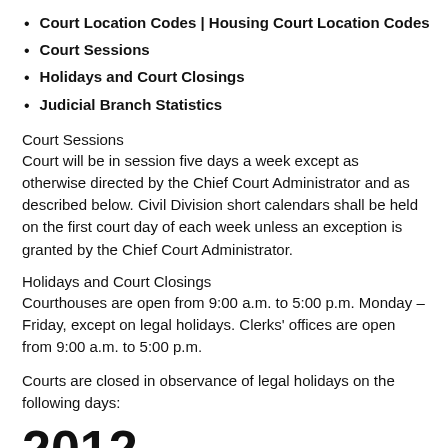Court Location Codes | Housing Court Location Codes
Court Sessions
Holidays and Court Closings
Judicial Branch Statistics
Court Sessions
Court will be in session five days a week except as otherwise directed by the Chief Court Administrator and as described below. Civil Division short calendars shall be held on the first court day of each week unless an exception is granted by the Chief Court Administrator.
Holidays and Court Closings
Courthouses are open from 9:00 a.m. to 5:00 p.m. Monday – Friday, except on legal holidays. Clerks' offices are open from 9:00 a.m. to 5:00 p.m.
Courts are closed in observance of legal holidays on the following days:
2012